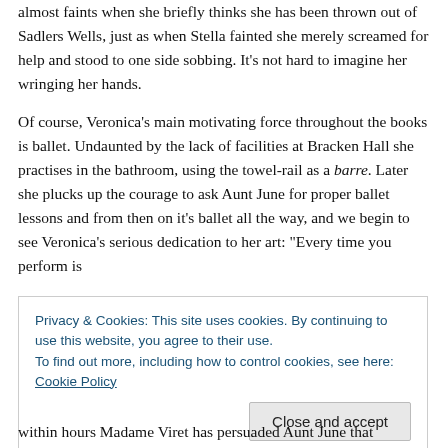almost faints when she briefly thinks she has been thrown out of Sadlers Wells, just as when Stella fainted she merely screamed for help and stood to one side sobbing. It's not hard to imagine her wringing her hands.
Of course, Veronica's main motivating force throughout the books is ballet. Undaunted by the lack of facilities at Bracken Hall she practises in the bathroom, using the towel-rail as a barre. Later she plucks up the courage to ask Aunt June for proper ballet lessons and from then on it's ballet all the way, and we begin to see Veronica's serious dedication to her art: "Every time you perform is
Privacy & Cookies: This site uses cookies. By continuing to use this website, you agree to their use.
To find out more, including how to control cookies, see here: Cookie Policy
within hours Madame Viret has persuaded Aunt June that